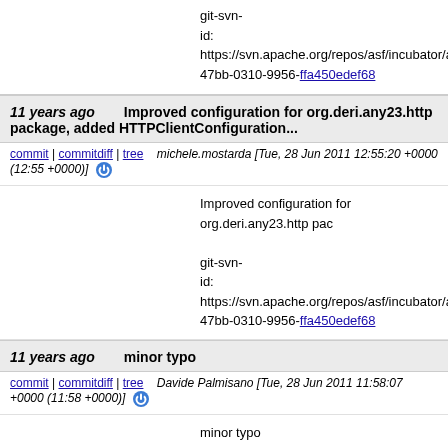git-svn-id: https://svn.apache.org/repos/asf/incubator/any2...47bb-0310-9956-ffa450edef68
11 years ago   Improved configuration for org.deri.any23.http package, added HTTPClientConfiguration...
commit | commitdiff | tree   michele.mostarda [Tue, 28 Jun 2011 12:55:20 +0000 (12:55 +0000)]
Improved configuration for org.deri.any23.http pac
git-svn-id: https://svn.apache.org/repos/asf/incubator/any2...47bb-0310-9956-ffa450edef68
11 years ago   minor typo
commit | commitdiff | tree   Davide Palmisano [Tue, 28 Jun 2011 11:58:07 +0000 (11:58 +0000)]
minor typo
git-svn-id: https://svn.apache.org/repos/asf/incubator/any2...47bb-0310-9956-ffa450edef68